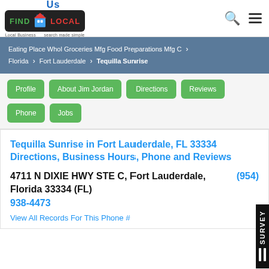[Figure (logo): FindUsLocal logo with 'Us' text above, a building icon, Find and Local text on dark badge, and tagline 'Local Business Search Made Simple']
Eating Place Whol Groceries Mfg Food Preparations Mfg C > Florida > Fort Lauderdale > Tequilla Sunrise
Profile
About Jim Jordan
Directions
Reviews
Phone
Jobs
Tequilla Sunrise in Fort Lauderdale, FL 33334 Directions, Business Hours, Phone and Reviews
4711 N DIXIE HWY STE C, Fort Lauderdale, Florida 33334 (FL) (954) 938-4473
View All Records For This Phone #